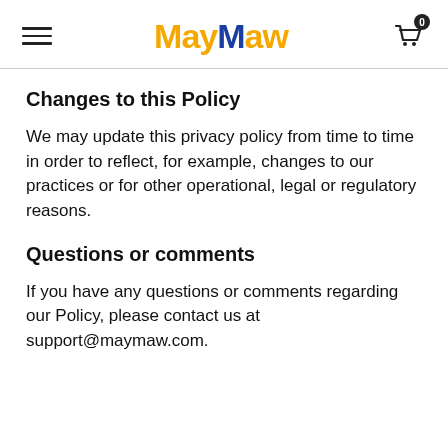MayMaw
Changes to this Policy
We may update this privacy policy from time to time in order to reflect, for example, changes to our practices or for other operational, legal or regulatory reasons.
Questions or comments
If you have any questions or comments regarding our Policy, please contact us at support@maymaw.com.